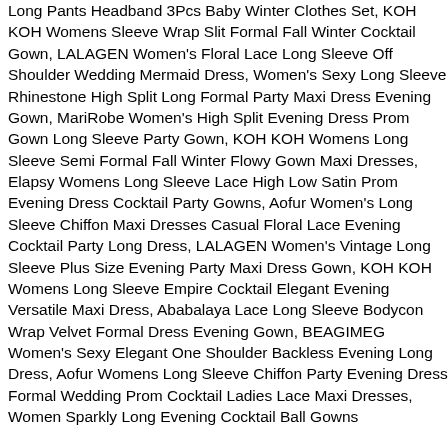Long Pants Headband 3Pcs Baby Winter Clothes Set, KOH KOH Womens Sleeve Wrap Slit Formal Fall Winter Cocktail Gown, LALAGEN Women's Floral Lace Long Sleeve Off Shoulder Wedding Mermaid Dress, Women's Sexy Long Sleeve Rhinestone High Split Long Formal Party Maxi Dress Evening Gown, MariRobe Women's High Split Evening Dress Prom Gown Long Sleeve Party Gown, KOH KOH Womens Long Sleeve Semi Formal Fall Winter Flowy Gown Maxi Dresses, Elapsy Womens Long Sleeve Lace High Low Satin Prom Evening Dress Cocktail Party Gowns, Aofur Women's Long Sleeve Chiffon Maxi Dresses Casual Floral Lace Evening Cocktail Party Long Dress, LALAGEN Women's Vintage Long Sleeve Plus Size Evening Party Maxi Dress Gown, KOH KOH Womens Long Sleeve Empire Cocktail Elegant Evening Versatile Maxi Dress, Ababalaya Lace Long Sleeve Bodycon Wrap Velvet Formal Dress Evening Gown, BEAGIMEG Women's Sexy Elegant One Shoulder Backless Evening Long Dress, Aofur Womens Long Sleeve Chiffon Party Evening Dress Formal Wedding Prom Cocktail Ladies Lace Maxi Dresses, Women Sparkly Long Evening Cocktail Ball Gowns Winter Party Long Formal Formal Women's Sparklit...